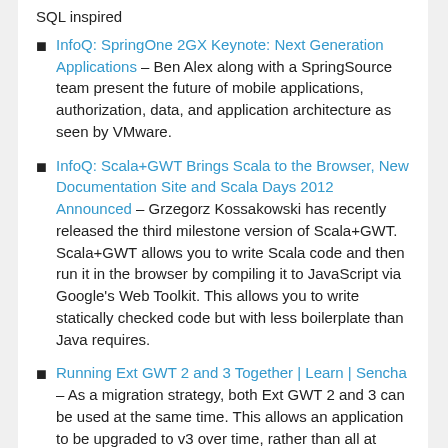InfoQ: SpringOne 2GX Keynote: Next Generation Applications – Ben Alex along with a SpringSource team present the future of mobile applications, authorization, data, and application architecture as seen by VMware.
InfoQ: Scala+GWT Brings Scala to the Browser, New Documentation Site and Scala Days 2012 Announced – Grzegorz Kossakowski has recently released the third milestone version of Scala+GWT. Scala+GWT allows you to write Scala code and then run it in the browser by compiling it to JavaScript via Google's Web Toolkit. This allows you to write statically checked code but with less boilerplate than Java requires.
Running Ext GWT 2 and 3 Together | Learn | Sencha – As a migration strategy, both Ext GWT 2 and 3 can be used at the same time. This allows an application to be upgraded to v3 over time, rather than all at once.
Move The Web Forward | Guide to getting involved with standards and browser development – Whether